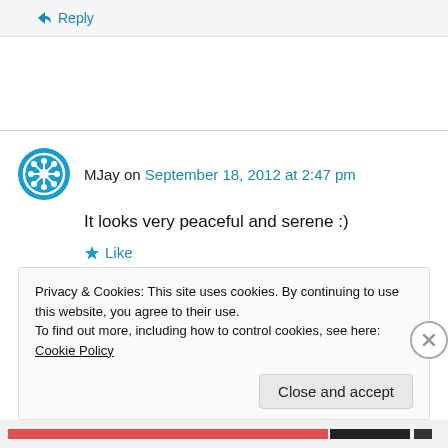↪ Reply
MJay on September 18, 2012 at 2:47 pm
It looks very peaceful and serene :)
★ Like
↪ Reply
Privacy & Cookies: This site uses cookies. By continuing to use this website, you agree to their use.
To find out more, including how to control cookies, see here: Cookie Policy
Close and accept